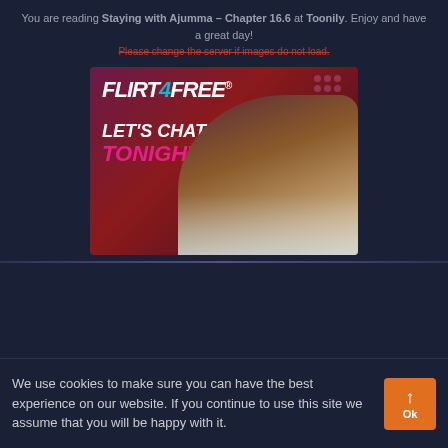You are reading Staying with Ajumma – Chapter 16.6 at Toonily. Enjoy and have a great day!
Please change the server if images do not load.
[Figure (illustration): Flirt4Free advertisement banner showing logo text 'FLIRT4FREE' with tagline 'LET'S CHAT TONIGHT' and a woman in a bathtub]
We use cookies to make sure you can have the best experience on our website. If you continue to use this site we assume that you will be happy with it.